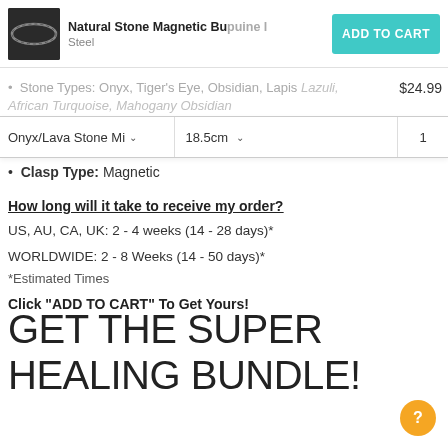Natural Stone Magnetic Bu...uine...Steel | ADD TO CART
Stone Types: Onyx, Tiger's Eye, Obsidian, Lapis Lazuli, African Turquoise, Mahogany Obsidian | $24.99
Onyx/Lava Stone Mi  18.5cm  1
Clasp Type: Magnetic
How long will it take to receive my order?
US, AU, CA, UK: 2 - 4 weeks (14 - 28 days)*
WORLDWIDE: 2 - 8 Weeks (14 - 50 days)*
*Estimated Times
Click "ADD TO CART" To Get Yours!
GET THE SUPER HEALING BUNDLE!